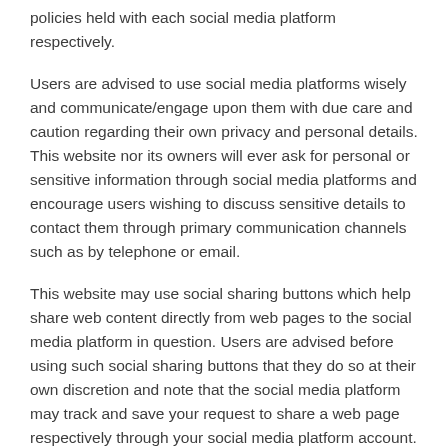policies held with each social media platform respectively.
Users are advised to use social media platforms wisely and communicate/engage upon them with due care and caution regarding their own privacy and personal details. This website nor its owners will ever ask for personal or sensitive information through social media platforms and encourage users wishing to discuss sensitive details to contact them through primary communication channels such as by telephone or email.
This website may use social sharing buttons which help share web content directly from web pages to the social media platform in question. Users are advised before using such social sharing buttons that they do so at their own discretion and note that the social media platform may track and save your request to share a web page respectively through your social media platform account.
Shortened Links in Social